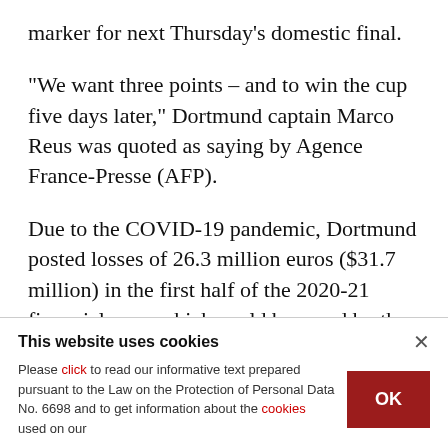marker for next Thursday's domestic final.
"We want three points – and to win the cup five days later," Dortmund captain Marco Reus was quoted as saying by Agence France-Presse (AFP).
Due to the COVID-19 pandemic, Dortmund posted losses of 26.3 million euros ($31.7 million) in the first half of the 2020-21 financial year, which could be eased by the 15.25 million euros each club receives for qualifying for the Champions League's
This website uses cookies
Please click to read our informative text prepared pursuant to the Law on the Protection of Personal Data No. 6698 and to get information about the cookies used on our